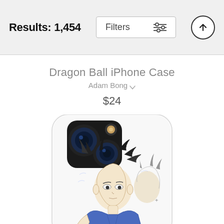Results: 1,454
Dragon Ball iPhone Case
Adam Bong
$24
[Figure (photo): iPhone case featuring Dragon Ball anime character (Goku in Ultra Instinct form) drawn in black and white line art with blue clothing, shown on an actual iPhone with camera module visible]